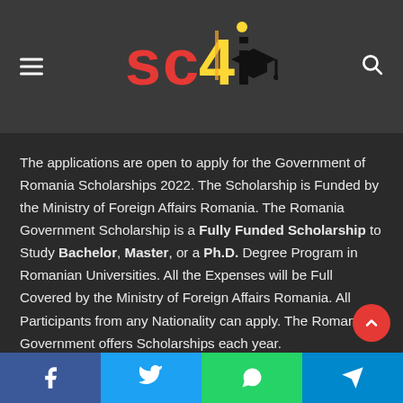[Figure (logo): SC4I logo with colorful letters and graduation cap on dark header]
The applications are open to apply for the Government of Romania Scholarships 2022. The Scholarship is Funded by the Ministry of Foreign Affairs Romania. The Romania Government Scholarship is a Fully Funded Scholarship to Study Bachelor, Master, or a Ph.D. Degree Program in Romanian Universities. All the Expenses will be Full Covered by the Ministry of Foreign Affairs Romania. All Participants from any Nationality can apply. The Romania Government offers Scholarships each year.
A total No of 85 Scholarships from Each Country will be provided for Undergraduate, Master & Doctorate. There